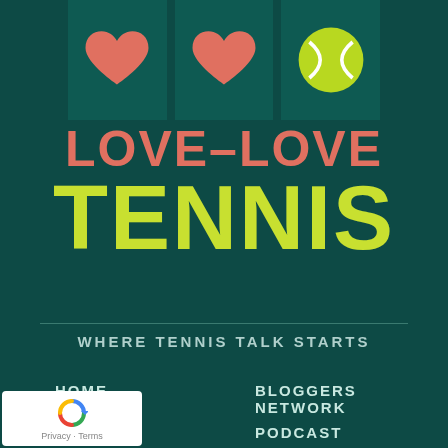[Figure (illustration): Three icon boxes on dark teal background: two salmon/coral heart icons and one yellow-green tennis ball icon]
LOVE-LOVE TENNIS
WHERE TENNIS TALK STARTS
HOME
BLOGGERS NETWORK
ABOUT
PODCAST
BLOG
JOIN THE BOOK CLUB